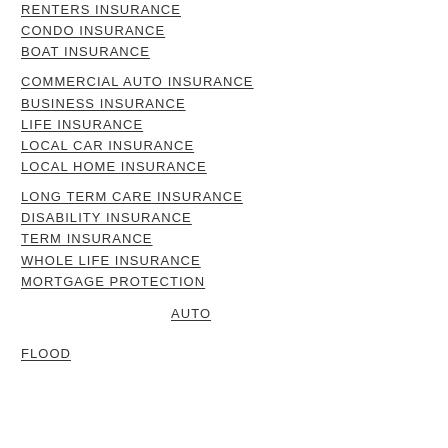RENTERS INSURANCE
CONDO INSURANCE
BOAT INSURANCE
COMMERCIAL AUTO INSURANCE
BUSINESS INSURANCE
LIFE INSURANCE
LOCAL CAR INSURANCE
LOCAL HOME INSURANCE
LONG TERM CARE INSURANCE
DISABILITY INSURANCE
TERM INSURANCE
WHOLE LIFE INSURANCE
MORTGAGE PROTECTION
AUTO
FLOOD